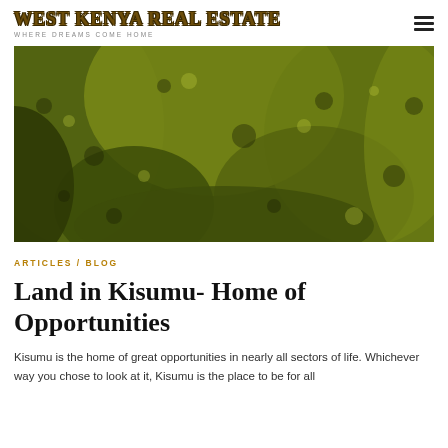WEST KENYA REAL ESTATE — WHERE DREAMS COME HOME
[Figure (photo): Aerial or close-up photograph of lush green grassland or crop field, olive-green and dark tones, textured vegetation surface.]
ARTICLES / BLOG
Land in Kisumu- Home of Opportunities
Kisumu is the home of great opportunities in nearly all sectors of life. Whichever way you chose to look at it, Kisumu is the place to be for all